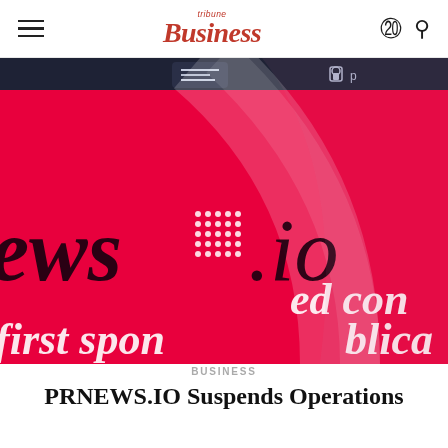tribune Business
[Figure (photo): Close-up photograph of a screen showing the PRnews.io website with a bright red/magenta background. Visible text includes 'ews' and '.io' branding with a dotted grid logo element, 'ed con', 'first spon', and 'blica'. A magnifying glass or curved lens effect is visible over the screen content. The browser tab bar is visible at the top with a dark navigation bar.]
BUSINESS
PRNEWS.IO Suspends Operations